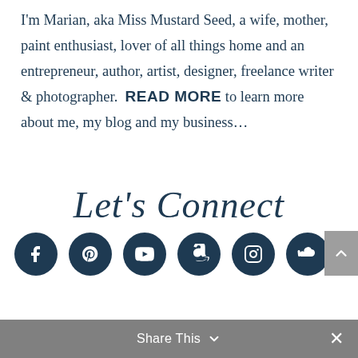I'm Marian, aka Miss Mustard Seed, a wife, mother, paint enthusiast, lover of all things home and an entrepreneur, author, artist, designer, freelance writer & photographer.  READ MORE to learn more about me, my blog and my business…
Let's Connect
[Figure (infographic): Row of 6 dark navy circular social media icons: Facebook, Pinterest, YouTube, Amazon, Instagram, SoundCloud]
Share This ∨  ✕